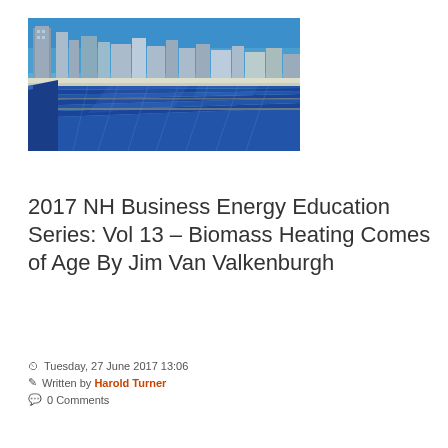[Figure (photo): Rooftop solar panels on a building with city skyline in background under clear blue sky]
2017 NH Business Energy Education Series: Vol 13 – Biomass Heating Comes of Age By Jim Van Valkenburgh
Tuesday, 27 June 2017 13:06
Written by Harold Turner
0 Comments